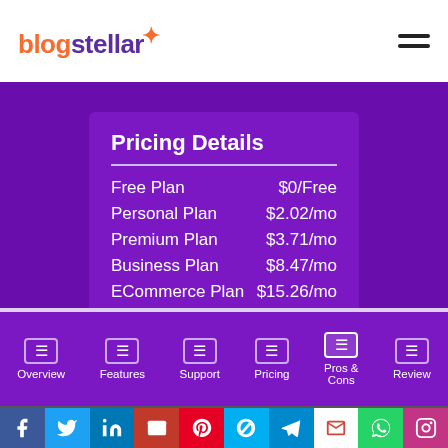blogstellar ☆ [hamburger menu]
Pricing Details
| Plan | Price |
| --- | --- |
| Free Plan | $0/Free |
| Personal Plan | $2.02/mo |
| Premium Plan | $3.71/mo |
| Business Plan | $8.47/mo |
| ECommerce Plan | $15.26/mo |
Overview | Features | Support | Pricing | Pros & Cons | Review
Social share bar: Facebook, Twitter, LinkedIn, Email, Pinterest, Skype, Telegram, Gmail, WhatsApp, Instagram